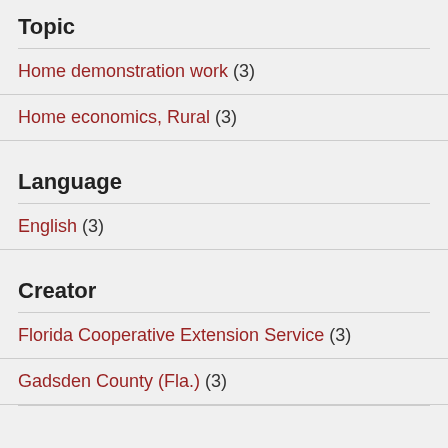Topic
Home demonstration work (3)
Home economics, Rural (3)
Language
English (3)
Creator
Florida Cooperative Extension Service (3)
Gadsden County (Fla.) (3)